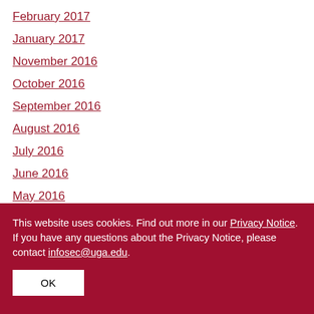February 2017
January 2017
November 2016
October 2016
September 2016
August 2016
July 2016
June 2016
May 2016
This website uses cookies. Find out more in our Privacy Notice. If you have any questions about the Privacy Notice, please contact infosec@uga.edu.
OK